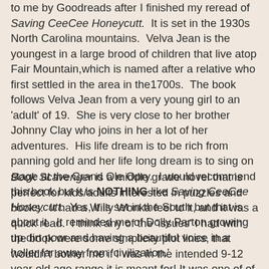to me by Goodreads after I finished my reread of Saving CeeCee Honeycutt. It is set in the 1930s North Carolina mountains. Velva Jean is the youngest in a large brood of children that live atop Fair Mountain,which is named after a relative who first settled in the area in the1700s. The book follows Velva Jean from a very young girl to an 'adult' of 19. She is very close to her brother Johnny Clay who joins in her a lot of her adventures. His life dream is to be rich from panning gold and her life long dream is to sing on stage at the Grand Ole Opry. I would recommend this book but it is NOTHING like Saving CeeCee Honeycutt. Yes, it is set in the South but that is about it. It reminded me of Dolly Parton growing up dirt poor and having a beautiful voice in a holler far away from 'civilization.'
Book Scavenger is a middle grade novel that is perfect for kids/adults interested in puzzles and books. It had a Willy Wonka feel to it, and it was a quick read. I think any of the 'issues' I had with the book were some simplicity plot lines, that wouldn't bother me if I was in the intended 9-12 year old age range it is meant for! It was one of of the library books my daughter got that I decided to read. The main character is Emily, and her family is on a quest to live in 50 states...